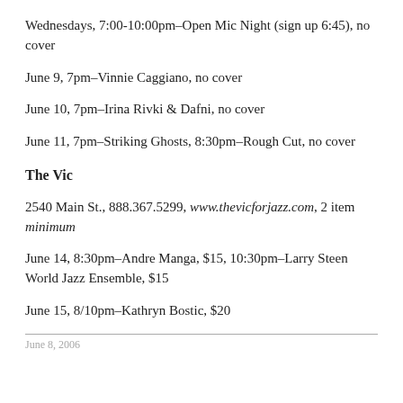Wednesdays, 7:00-10:00pm–Open Mic Night (sign up 6:45), no cover
June 9, 7pm–Vinnie Caggiano, no cover
June 10, 7pm–Irina Rivki & Dafni, no cover
June 11, 7pm–Striking Ghosts, 8:30pm–Rough Cut, no cover
The Vic
2540 Main St., 888.367.5299, www.thevicforjazz.com, 2 item minimum
June 14, 8:30pm–Andre Manga, $15, 10:30pm–Larry Steen World Jazz Ensemble, $15
June 15, 8/10pm–Kathryn Bostic, $20
June 8, 2006